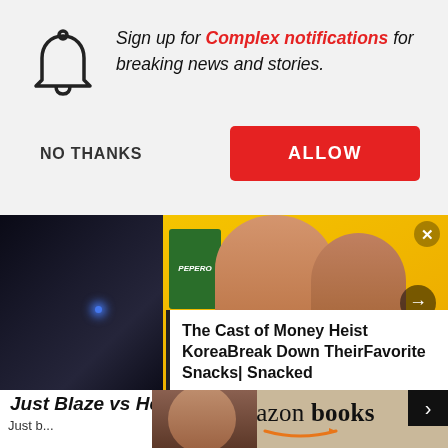Sign up for Complex notifications for breaking news and stories.
NO THANKS
ALLOW
[Figure (screenshot): Two people on yellow background with Pepero snack box, SNACKED text overlay, and a dark scene on the left. Part of a video thumbnail carousel.]
The Cast of Money Heist KoreaBreak Down TheirFavorite Snacks| Snacked
Just Blaze vs Heatmakerz
Just b...
[Figure (screenshot): Amazon books advertisement banner with a person reading, shown at the bottom of the page.]